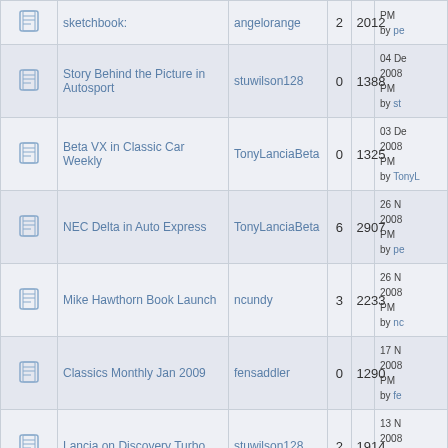|  | Topic | Author | Replies | Views | Last Post |
| --- | --- | --- | --- | --- | --- |
| [icon] | sketchbook: | angelorange | 2 | 2012 | PM by pe |
| [icon] | Story Behind the Picture in Autosport | stuwilson128 | 0 | 1388 | 04 De 2008 PM by st |
| [icon] | Beta VX in Classic Car Weekly | TonyLanciaBeta | 0 | 1325 | 03 De 2008 PM by TonyL |
| [icon] | NEC Delta in Auto Express | TonyLanciaBeta | 6 | 2907 | 26 N 2008 PM by pe |
| [icon] | Mike Hawthorn Book Launch | ncundy | 3 | 2233 | 26 N 2008 PM by nc |
| [icon] | Classics Monthly Jan 2009 | fensaddler | 0 | 1290 | 17 N 2008 PM by fe |
| [icon] | Lancia on Discovery Turbo | stuwilson128 | 2 | 1914 | 13 N 2008 AM by j8 |
| [icon] | Practical Performance Car | DianaW | 0 | 1299 | 12 N 2008 PM by Di |
| [icon] | Classics Monthly, December issue | ColinMarr | 1 | 1821 | 22 O 2008 |